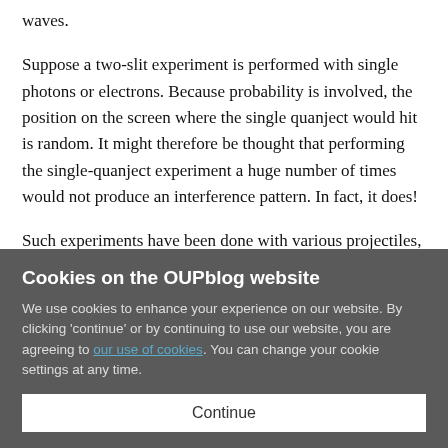waves.
Suppose a two-slit experiment is performed with single photons or electrons. Because probability is involved, the position on the screen where the single quanject would hit is random. It might therefore be thought that performing the single-quanject experiment a huge number of times would not produce an interference pattern. In fact, it does!
Such experiments have been done with various projectiles, e.g., electrons. How the interference pattern gets built up is
Cookies on the OUPblog website
We use cookies to enhance your experience on our website. By clicking 'continue' or by continuing to use our website, you are agreeing to our use of cookies. You can change your cookie settings at any time.